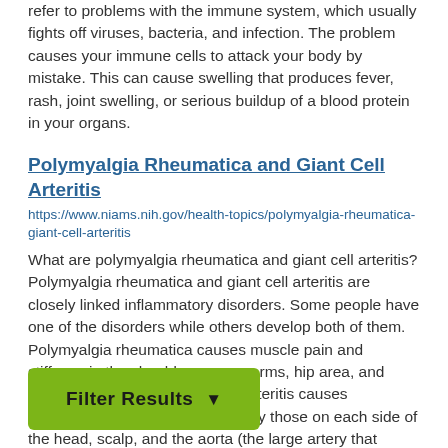refer to problems with the immune system, which usually fights off viruses, bacteria, and infection. The problem causes your immune cells to attack your body by mistake. This can cause swelling that produces fever, rash, joint swelling, or serious buildup of a blood protein in your organs.
Polymyalgia Rheumatica and Giant Cell Arteritis
https://www.niams.nih.gov/health-topics/polymyalgia-rheumatica-giant-cell-arteritis
What are polymyalgia rheumatica and giant cell arteritis? Polymyalgia rheumatica and giant cell arteritis are closely linked inflammatory disorders. Some people have one of the disorders while others develop both of them. Polymyalgia rheumatica causes muscle pain and stiffness in the shoulders, upper arms, hip area, and sometimes the neck. Giant cell arteritis causes inflammation of arteries, especially those on each side of the head, scalp, and the aorta (the large artery that carries blood from the heart) and its main branches. The main symptoms of this disorder are: Headaches. Scalp tenderness. Jaw pain. Problems with your eyes, which may
Filter Results